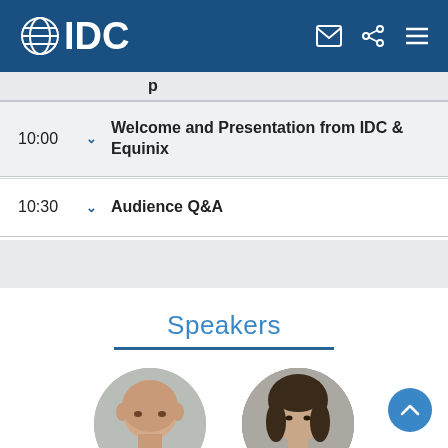IDC
10:00  Welcome and Presentation from IDC & Equinix
10:30  Audience Q&A
Speakers
[Figure (photo): Two circular speaker portrait photos side by side]